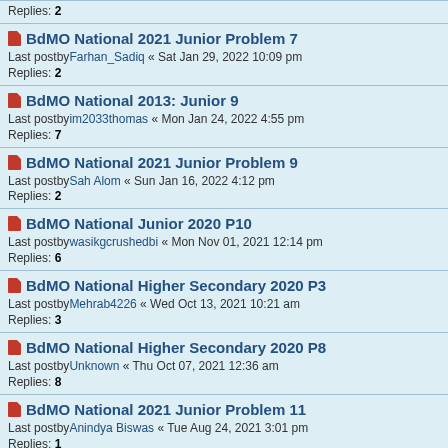Replies: 2
BdMO National 2021 Junior Problem 7
Last postby Farhan_Sadiq « Sat Jan 29, 2022 10:09 pm
Replies: 2
BdMO National 2013: Junior 9
Last postby im2033thomas « Mon Jan 24, 2022 4:55 pm
Replies: 7
BdMO National 2021 Junior Problem 9
Last postby Sah Alom « Sun Jan 16, 2022 4:12 pm
Replies: 2
BdMO National Junior 2020 P10
Last postby wasikgcrushedbi « Mon Nov 01, 2021 12:14 pm
Replies: 6
BdMO National Higher Secondary 2020 P3
Last postby Mehrab4226 « Wed Oct 13, 2021 10:21 am
Replies: 3
BdMO National Higher Secondary 2020 P8
Last postby Unknown « Thu Oct 07, 2021 12:36 am
Replies: 8
BdMO National 2021 Junior Problem 11
Last postby Anindya Biswas « Tue Aug 24, 2021 3:01 pm
Replies: 1
BdMO National Primary 2020 P6
Last postby 103568 « Wed Aug 18, 2021 12:15 pm
Replies: 1
BdMO National Primary 2020 P1
Last postby 103568 « Wed Aug 18, 2021 12:00 pm
Replies: 1